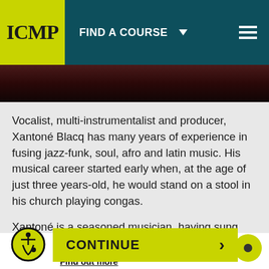ICMP | FIND A COURSE
[Figure (photo): Dark photo strip showing a performer on stage under red lighting]
Vocalist, multi-instrumentalist and producer, Xantoné Blacq has many years of experience in fusing jazz-funk, soul, afro and latin music. His musical career started early when, at the age of just three years-old, he would stand on a stool in his church playing congas.
Xantoné is a seasoned musician, having sung and
We use cookies to improve your experience of the ICMP website.
Find out more
CONTINUE